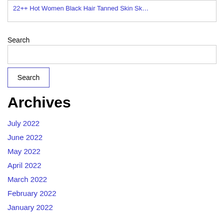22++ Hot Women Black Hair Tanned Skin Sk…
Search
Search
Archives
July 2022
June 2022
May 2022
April 2022
March 2022
February 2022
January 2022